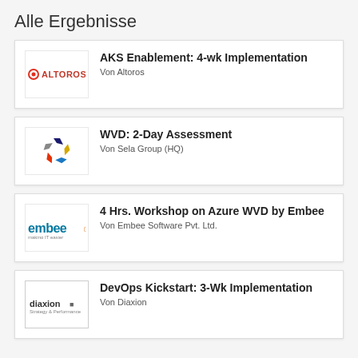Alle Ergebnisse
AKS Enablement: 4-wk Implementation — Von Altoros
WVD: 2-Day Assessment — Von Sela Group (HQ)
4 Hrs. Workshop on Azure WVD by Embee — Von Embee Software Pvt. Ltd.
DevOps Kickstart: 3-Wk Implementation — Von Diaxion